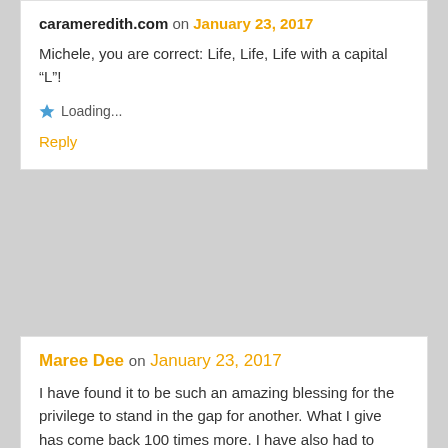carameredith.com on January 23, 2017
Michele, you are correct: Life, Life, Life with a capital “L”!
Loading...
Reply
Maree Dee on January 23, 2017
I have found it to be such an amazing blessing for the privilege to stand in the gap for another. What I give has come back 100 times more. I have also had to learn to let others stand in the gap for me. That was a little harder but so rewarding.
Loading...
Reply
carameredith.com on January 23, 2017
Maree, I love that you’ve noticed when you’re a gap-bearer, and that you’ve seen it come back a 100x fold!